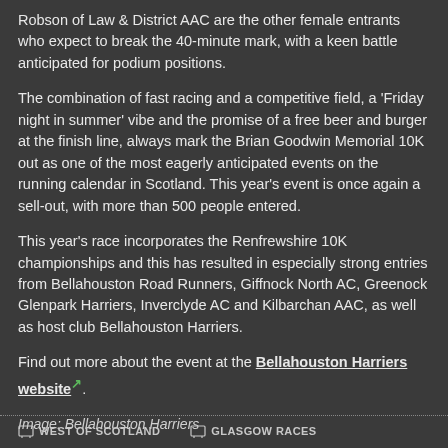Robson of Law & District AAC are the other female entrants who expect to break the 40-minute mark, with a keen battle anticipated for podium positions.
The combination of fast racing and a competitive field, a 'Friday night in summer' vibe and the promise of a free beer and burger at the finish line, always mark the Brian Goodwin Memorial 10K out as one of the most eagerly anticipated events on the running calendar in Scotland. This year’s event is once again a sell-out, with more than 500 people entered.
This year's race incorporates the Renfrewshire 10K championships and this has resulted in especially strong entries from Bellahouston Road Runners, Giffnock North AC, Greenock Glenpark Harriers, Inverclyde AC and Kilbarchan AAC, as well as host club Bellahouston Harriers.
Find out more about the event at the Bellahouston Harriers website.
Image: Bellahouston Harriers
WEST OF SCOTLAND   GLASGOW RACES